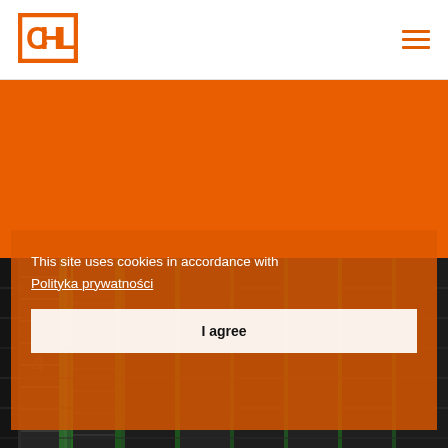[Figure (logo): CHL company logo in orange square bracket style]
[Figure (illustration): Hamburger menu icon, three orange horizontal lines]
[Figure (photo): Orange banner background]
[Figure (photo): Server rack / data center cable management background photo in dark tones]
This site uses cookies in accordance with
Polityka prywatności
I agree